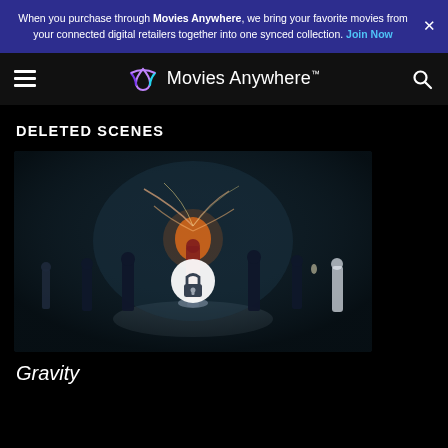When you purchase through Movies Anywhere, we bring your favorite movies from your connected digital retailers together into one synced collection. Join Now
[Figure (logo): Movies Anywhere logo with navigation bar on dark background]
DELETED SCENES
[Figure (screenshot): Movie thumbnail showing a dark cinematic scene with glowing figure in the center, surrounded by people standing in shadow. A lock icon overlay is displayed in the center of the thumbnail.]
Gravity